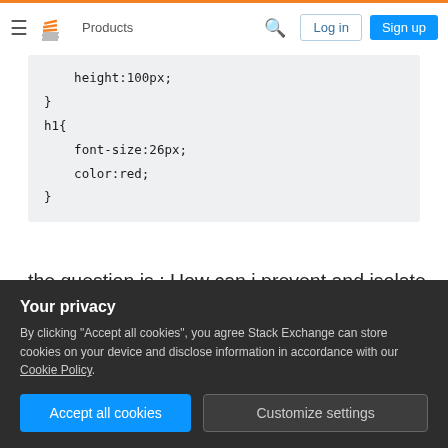≡  [Stack Overflow logo]  Products  🔍  Log in  Sign up
height:100px;
}
h1{
    font-size:26px;
    color:red;
}
the question is : How can i prevent and isolate the tags inside the mydiv div tag from styling by the public tags style ?
html  css
Your privacy
By clicking "Accept all cookies", you agree Stack Exchange can store cookies on your device and disclose information in accordance with our Cookie Policy.
Accept all cookies  Customize settings